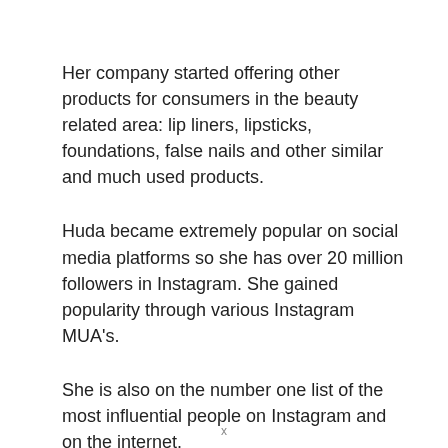Her company started offering other products for consumers in the beauty related area: lip liners, lipsticks, foundations, false nails and other similar and much used products.
Huda became extremely popular on social media platforms so she has over 20 million followers in Instagram. She gained popularity through various Instagram MUA's.
She is also on the number one list of the most influential people on Instagram and on the internet.